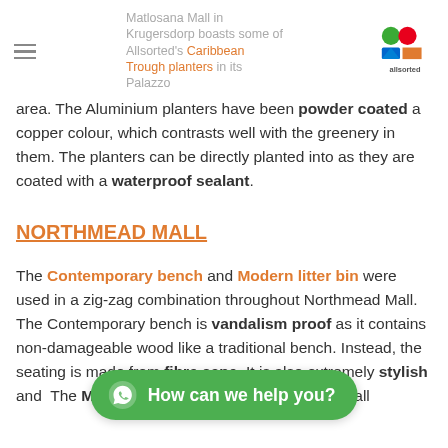Matlosana Mall in Krugersdorp boasts some of Allsorted's Caribbean Trough planters in its Palazzo area.
area. The Aluminium planters have been powder coated a copper colour, which contrasts well with the greenery in them. The planters can be directly planted into as they are coated with a waterproof sealant.
NORTHMEAD MALL
The Contemporary bench and Modern litter bin were used in a zig-zag combination throughout Northmead Mall. The Contemporary bench is vandalism proof as it contains non-damageable wood like a traditional bench. Instead, the seating is made from fibre cane. It is also extremely stylish and The Modern bin is sturdy and great for a mall